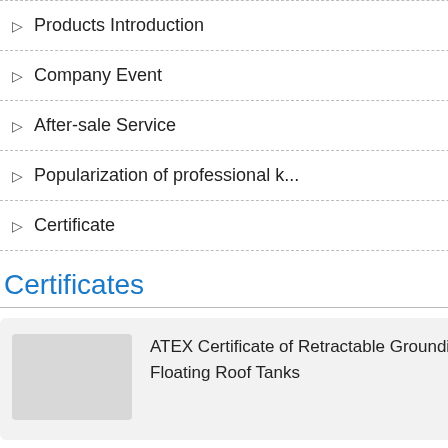Products Introduction
Company Event
After-sale Service
Popularization of professional k...
Certificate
Certificates   More
ATEX Certificate of Retractable Grounding Reel for Floating Roof Tanks
ATEX & IEC Certificate of High
Portable Laser Meathane
Previous  Notice of Natio...
Next  The main functions